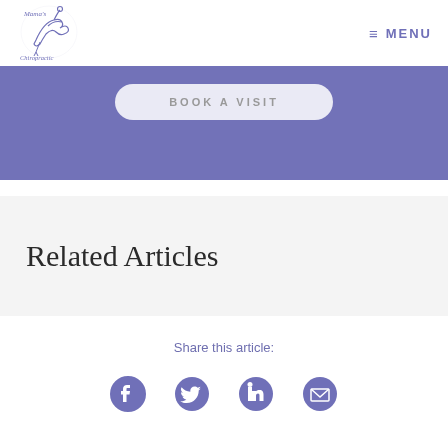Mama's Chiropractic — MENU
[Figure (other): Purple banner with 'BOOK A VISIT' button]
Related Articles
Share this article:
[Figure (infographic): Social media icons: Facebook, Twitter, LinkedIn, Email]